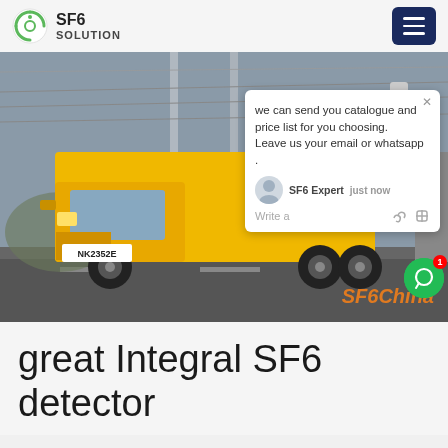SF6 SOLUTION
[Figure (photo): Yellow SF6 service truck parked at an electrical substation with high-voltage infrastructure visible. License plate reads NK2352E. A chat popup overlay is visible in the upper right portion of the image with the message: 'we can send you catalogue and price list for you choosing. Leave us your email or whatsapp.' Signed by SF6 Expert. A green chat bubble icon with badge '1' is visible. 'SF6China' watermark appears in orange at the bottom right.]
great Integral SF6 detector